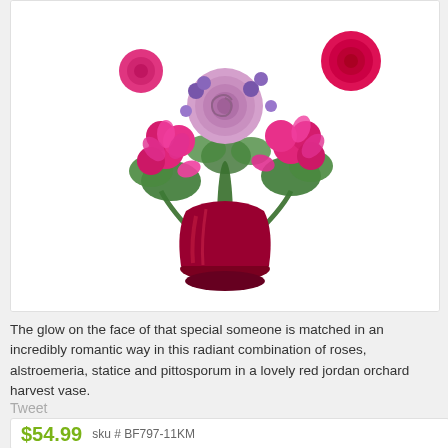[Figure (photo): A flower bouquet with pink roses, alstroemeria, statice and pittosporum in a red jordan orchard harvest vase, displayed on a white background.]
The glow on the face of that special someone is matched in an incredibly romantic way in this radiant combination of roses, alstroemeria, statice and pittosporum in a lovely red jordan orchard harvest vase.
Tweet
$54.99   sku # BF797-11KM